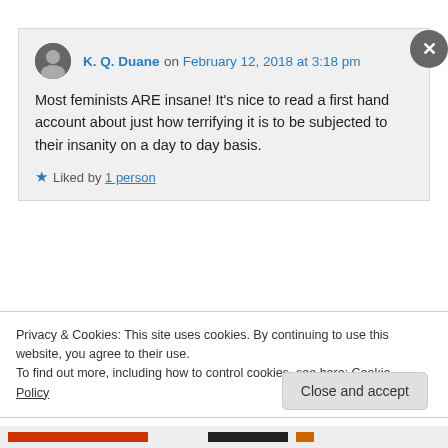K. Q. Duane on February 12, 2018 at 3:18 pm
Most feminists ARE insane! It's nice to read a first hand account about just how terrifying it is to be subjected to their insanity on a day to day basis.
★ Liked by 1 person
↳ Reply
Privacy & Cookies: This site uses cookies. By continuing to use this website, you agree to their use.
To find out more, including how to control cookies, see here: Cookie Policy
Close and accept